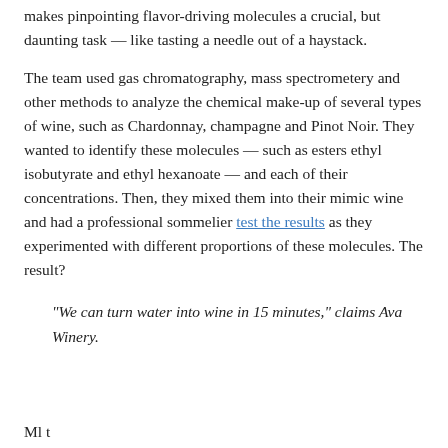makes pinpointing flavor-driving molecules a crucial, but daunting task — like tasting a needle out of a haystack.
The team used gas chromatography, mass spectrometery and other methods to analyze the chemical make-up of several types of wine, such as Chardonnay, champagne and Pinot Noir. They wanted to identify these molecules — such as esters ethyl isobutyrate and ethyl hexanoate — and each of their concentrations. Then, they mixed them into their mimic wine and had a professional sommelier test the results as they experimented with different proportions of these molecules. The result?
“We can turn water into wine in 15 minutes,” claims Ava Winery.
Ml t...